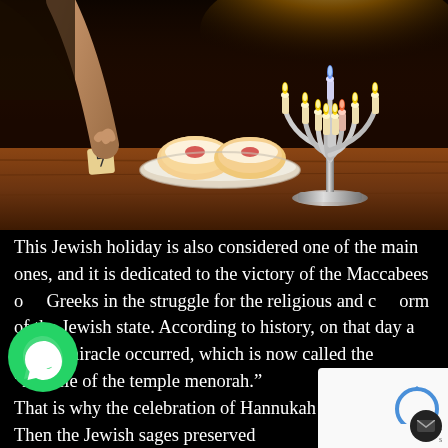[Figure (photo): Hanukkah scene: a hand spinning a dreidel near a plate of sufganiyot (jelly donuts) and a silver menorah with nine lit candles on a wooden table against a dark background]
This Jewish holiday is also considered one of the main ones, and it is dedicated to the victory of the Maccabees o Greeks in the struggle for the religious and c orm of the Jewish state. According to history, on that day a divine miracle occurred, which is now called the “miracle of the temple menorah.” That is why the celebration of Hannukah lasts for   Then the Jewish sages preserved